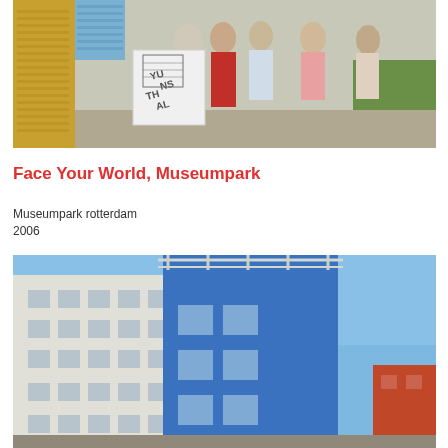[Figure (photo): Outdoor scene showing a group of people walking, one holding a large white paper bag with 'KUNSTHAL' text and a building diagram printed on it. A yellow building is visible on the left, blue building top-left, green grass on the right. People are wearing casual summer clothes.]
Face Your World, Museumpark
Museumpark rotterdam
2006
[Figure (photo): Modern architectural photo showing a tall bright blue building in the center with white metal roof railing/pergola structure on top, windows with silver frames. A white multi-story building is on the left with rectangular windows. A red-orange building edge is visible on the right. Blue sky in background.]